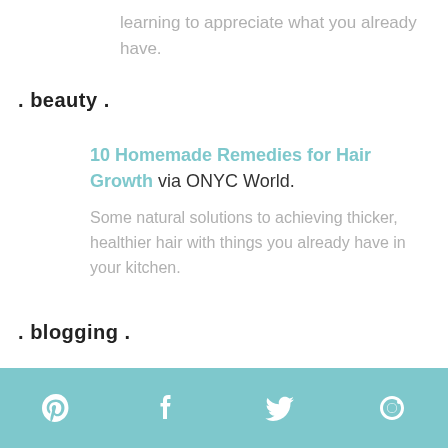learning to appreciate what you already have.
. beauty .
10 Homemade Remedies for Hair Growth via ONYC World.
Some natural solutions to achieving thicker, healthier hair with things you already have in your kitchen.
. blogging .
Pinterest Facebook Twitter Social icons